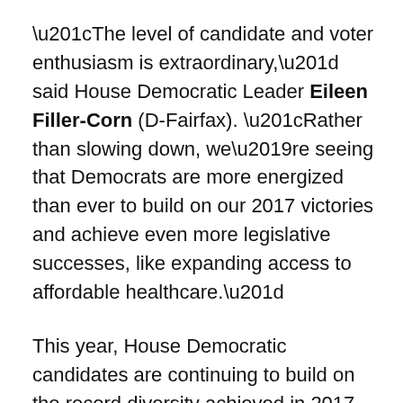“The level of candidate and voter enthusiasm is extraordinary,” said House Democratic Leader Eileen Filler-Corn (D-Fairfax). “Rather than slowing down, we’re seeing that Democrats are more energized than ever to build on our 2017 victories and achieve even more legislative successes, like expanding access to affordable healthcare.”
This year, House Democratic candidates are continuing to build on the record diversity achieved in 2017. Of the current Democrats in the House of Delegates, 45 percent are women, 45 percent are of color, 24 percent are under 40, and 8 percent are openly